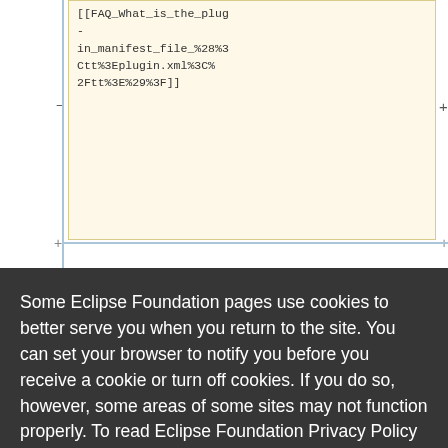[Figure (screenshot): Background showing a wiki-style table or diff view with a yellow/cream cell containing URL-encoded wiki link text: [[FAQ_What_is_the_plug-in_manifest_file_%28%3Ctt%3Eplugin.xml%3C%2Ftt%3E%29%3F]] and below it a cell with <i>Platform Plug-in text]
Some Eclipse Foundation pages use cookies to better serve you when you return to the site. You can set your browser to notify you before you receive a cookie or turn off cookies. If you do so, however, some areas of some sites may not function properly. To read Eclipse Foundation Privacy Policy click here.